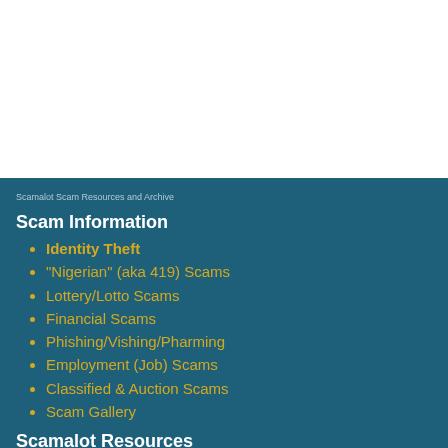Scamalot Scam Resources and Archive
Scam Information
Identity Theft
"Nigerian" (aka 419) Scams
Lottery/Lotto Scams
Financial Scams
Phishing/Vishing/Pharming
Employment (Job) Scams
Classified & Auction Scams
Scam Gallery
Scamalot Resources
Scam Tip Off Reports
Leave a Scam Tip Off Report
New Scam Emails Received